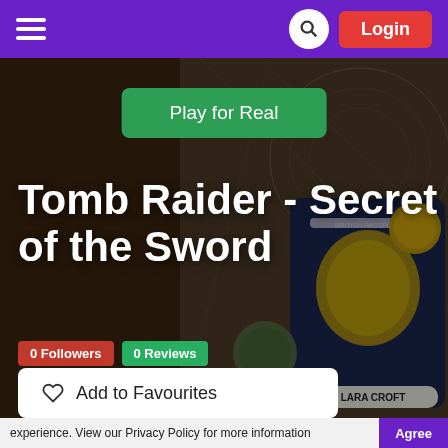≡   🔍  Login
[Figure (screenshot): Hero image of Tomb Raider game page showing a British passport with 'LARA CROFT' name, gold coins, and aged map background. A green 'Play for Real' button is overlaid on the image.]
Tomb Raider - Secret of the Sword
0 Followers   0 Reviews
♡  Add to Favourites
experience. View our Privacy Policy for more information   Agree